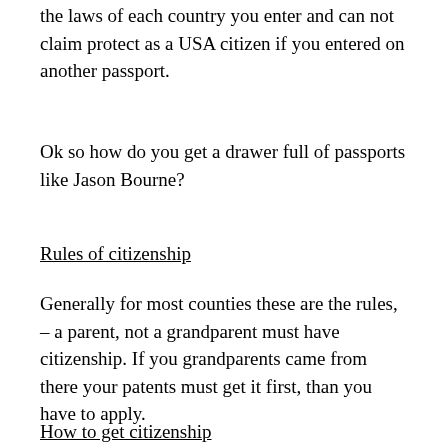the laws of each country you enter and can not claim protect as a USA citizen if you entered on another passport.
Ok so how do you get a drawer full of passports like Jason Bourne?
Rules of citizenship
Generally for most counties these are the rules, – a parent, not a grandparent must have citizenship. If you grandparents came from there your patents must get it first, than you have to apply.
How to get citizenship